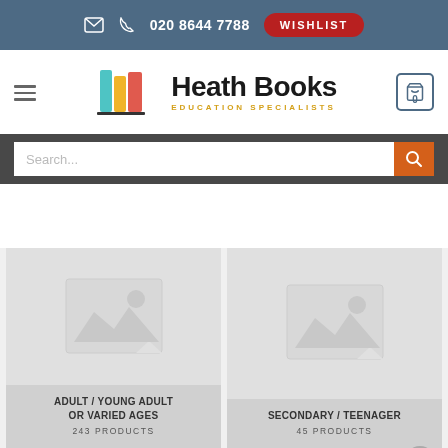✉  📞 020 8644 7788  WISHLIST
[Figure (logo): Heath Books Education Specialists logo with colorful book spines icon]
Search...
[Figure (photo): Placeholder image for Adult / Young Adult or Varied Ages category]
ADULT / YOUNG ADULT OR VARIED AGES
243 PRODUCTS
[Figure (photo): Placeholder image for Secondary / Teenager category]
SECONDARY / TEENAGER
45 PRODUCTS